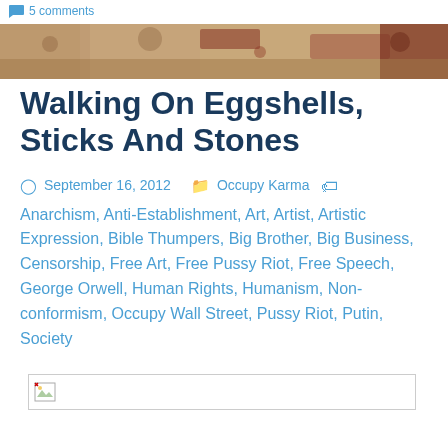5 comments
[Figure (photo): Decorative banner image with muted earthy tones, brownish-red abstract background]
Walking On Eggshells, Sticks And Stones
September 16, 2012  Occupy Karma  Anarchism, Anti-Establishment, Art, Artist, Artistic Expression, Bible Thumpers, Big Brother, Big Business, Censorship, Free Art, Free Pussy Riot, Free Speech, George Orwell, Human Rights, Humanism, Non-conformism, Occupy Wall Street, Pussy Riot, Putin, Society
[Figure (photo): Broken image placeholder thumbnail]